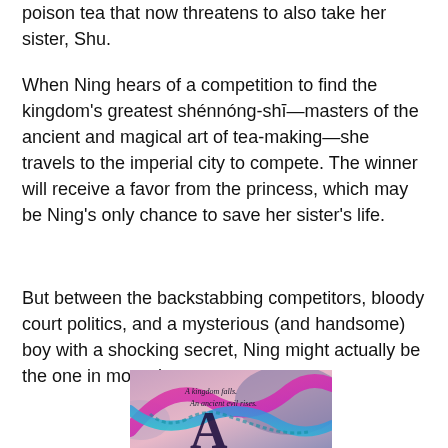poison tea that now threatens to also take her sister, Shu.
When Ning hears of a competition to find the kingdom’s greatest shénnóng-shī—masters of the ancient and magical art of tea-making—she travels to the imperial city to compete. The winner will receive a favor from the princess, which may be Ning’s only chance to save her sister’s life.
But between the backstabbing competitors, bloody court politics, and a mysterious (and handsome) boy with a shocking secret, Ning might actually be the one in more danger.
[Figure (illustration): Book cover showing colorful serpentine dragon creatures in pink, teal, and purple hues against a swirling background. Text on cover reads 'A kingdom falls. An ancient evil rises.' with a large decorative letter 'A' visible at the bottom.]